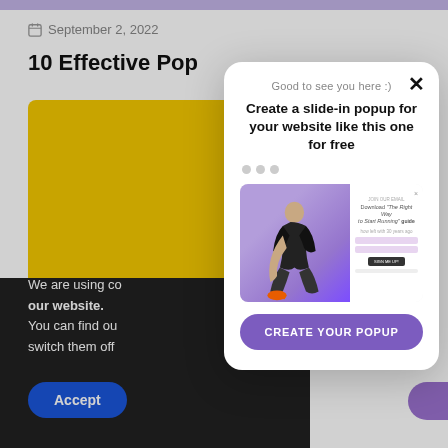September 2, 2022
10 Effective Pop...
[Figure (screenshot): Yellow decorative box background element on left side of page]
We are using co our website. You can find ou switch them off
Accept
[Figure (screenshot): A slide-in popup modal overlay with greeting text, headline, navigation dots, a preview image of a fitness popup with athlete photo, and a Create Your Popup CTA button]
Good to see you here :)
Create a slide-in popup for your website like this one for free
CREATE YOUR POPUP